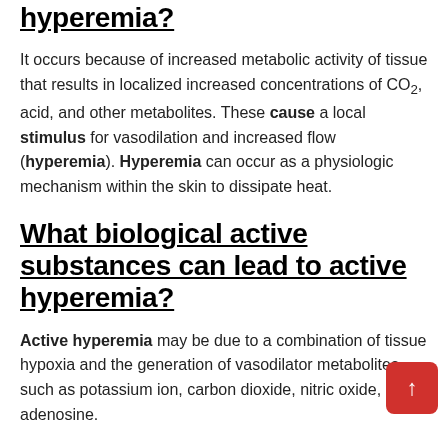hyperemia?
It occurs because of increased metabolic activity of tissue that results in localized increased concentrations of CO2, acid, and other metabolites. These cause a local stimulus for vasodilation and increased flow (hyperemia). Hyperemia can occur as a physiologic mechanism within the skin to dissipate heat.
What biological active substances can lead to active hyperemia?
Active hyperemia may be due to a combination of tissue hypoxia and the generation of vasodilator metabolites such as potassium ion, carbon dioxide, nitric oxide, and adenosine.